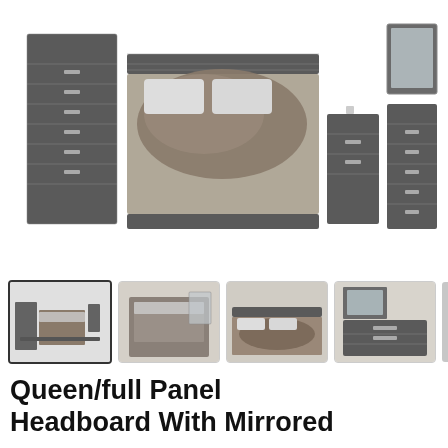[Figure (photo): Main product image showing a bedroom furniture set including a chest of drawers, queen/full bed with headboard and bedding, nightstand, dresser, and mirror, all in a dark rustic wood finish]
[Figure (photo): Thumbnail 1 (selected): Full bedroom set overview showing all pieces together]
[Figure (photo): Thumbnail 2: Bedroom set shown in a room setting with mirror and bed]
[Figure (photo): Thumbnail 3: Close-up of the bed with headboard and bedding]
[Figure (photo): Thumbnail 4: Dresser with mirror in dark rustic wood finish]
Queen/full Panel Headboard With Mirrored